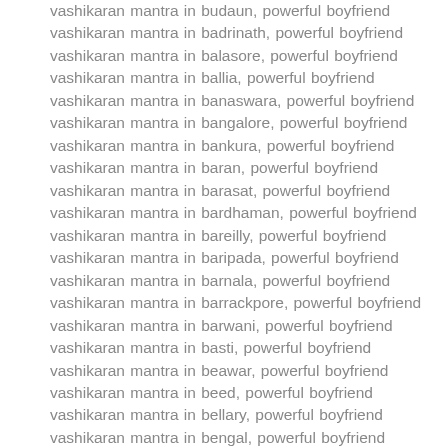vashikaran mantra in budaun, powerful boyfriend vashikaran mantra in badrinath, powerful boyfriend vashikaran mantra in balasore, powerful boyfriend vashikaran mantra in ballia, powerful boyfriend vashikaran mantra in banaswara, powerful boyfriend vashikaran mantra in bangalore, powerful boyfriend vashikaran mantra in bankura, powerful boyfriend vashikaran mantra in baran, powerful boyfriend vashikaran mantra in barasat, powerful boyfriend vashikaran mantra in bardhaman, powerful boyfriend vashikaran mantra in bareilly, powerful boyfriend vashikaran mantra in baripada, powerful boyfriend vashikaran mantra in barnala, powerful boyfriend vashikaran mantra in barrackpore, powerful boyfriend vashikaran mantra in barwani, powerful boyfriend vashikaran mantra in basti, powerful boyfriend vashikaran mantra in beawar, powerful boyfriend vashikaran mantra in beed, powerful boyfriend vashikaran mantra in bellary, powerful boyfriend vashikaran mantra in bengal, powerful boyfriend vashikaran mantra in bettiah, powerful boyfriend vashikaran mantra in bhadohi, powerful boyfriend vashikaran mantra in bhadrak, powerful boyfriend vashikaran mantra in bhagalpur, powerful boyfriend